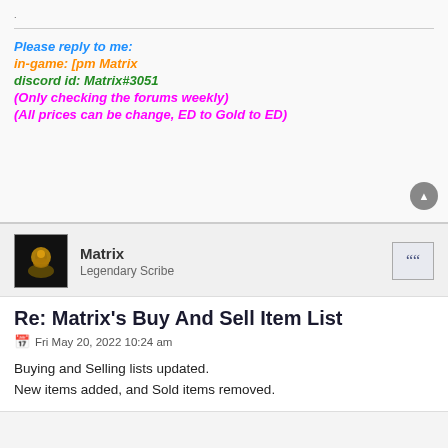.
Please reply to me:
in-game: [pm Matrix
discord id: Matrix#3051
(Only checking the forums weekly)
(All prices can be change, ED to Gold to ED)
[Figure (photo): Avatar image of Matrix user - dark golden figure on black background]
Matrix
Legendary Scribe
Re: Matrix's Buy And Sell Item List
Fri May 20, 2022 10:24 am
Buying and Selling lists updated.
New items added, and Sold items removed.